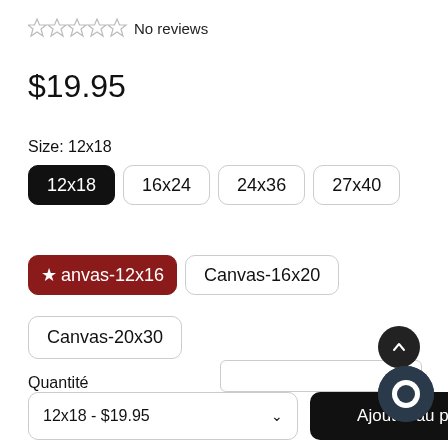☆☆☆☆☆ No reviews
$19.95
Size: 12x18
12x18 | 16x24 | 24x36 | 27x40 | Canvas-12x16 | Canvas-16x20 | Canvas-20x30
Quantité
1
12x18 - $19.95
Ajouter au p...